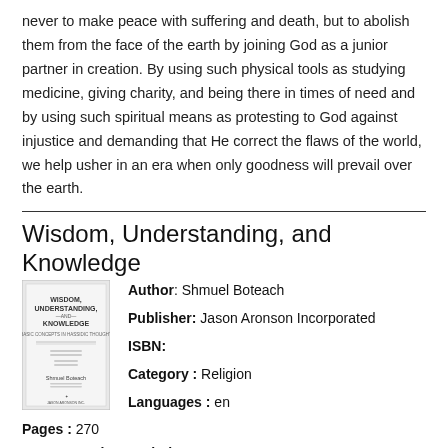never to make peace with suffering and death, but to abolish them from the face of the earth by joining God as a junior partner in creation. By using such physical tools as studying medicine, giving charity, and being there in times of need and by using such spiritual means as protesting to God against injustice and demanding that He correct the flaws of the world, we help usher in an era when only goodness will prevail over the earth.
Wisdom, Understanding, and Knowledge
[Figure (illustration): Book cover of 'Wisdom, Understanding, and Knowledge' by Shmuel Boteach, published by Jason Aronson Inc.]
Author: Shmuel Boteach
Publisher: Jason Aronson Incorporated
ISBN:
Category: Religion
Languages: en
Pages : 270
VIEW » Book Description